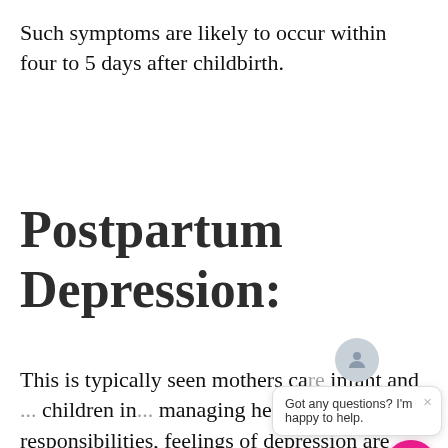Such symptoms are likely to occur within four to 5 days after childbirth.
Postpartum Depression:
This is typically seen mothers ca... infant and... children in... managing her normal responsibilities, feelings of depression are especially
[Figure (screenshot): Chat widget overlay with avatar icon, close button (×), and message 'Got any questions? I'm happy to help.' with a pink circular chat button below.]